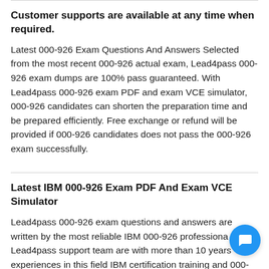Customer supports are available at any time when required.
Latest 000-926 Exam Questions And Answers Selected from the most recent 000-926 actual exam, Lead4pass 000-926 exam dumps are 100% pass guaranteed. With Lead4pass 000-926 exam PDF and exam VCE simulator, 000-926 candidates can shorten the preparation time and be prepared efficiently. Free exchange or refund will be provided if 000-926 candidates does not pass the 000-926 exam successfully.
Latest IBM 000-926 Exam PDF And Exam VCE Simulator
Lead4pass 000-926 exam questions and answers are written by the most reliable IBM 000-926 professionals. Lead4pass support team are with more than 10 years experiences in this field IBM certification training and 000-